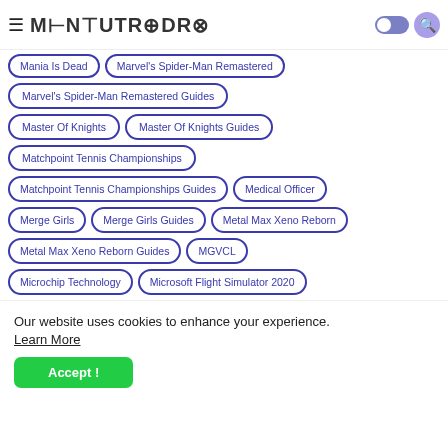MensutroPro
Mania Is Dead
Marvel's Spider-Man Remastered
Marvel's Spider-Man Remastered Guides
Master Of Knights
Master Of Knights Guides
Matchpoint Tennis Championships
Matchpoint Tennis Championships Guides
Medical Officer
Merge Girls
Merge Girls Guides
Metal Max Xeno Reborn
Metal Max Xeno Reborn Guides
MGVCL
Microchip Technology
Microsoft Flight Simulator 2020
Microsoft Flight Simulator 2020 Guides
Middle East
Our website uses cookies to enhance your experience. Learn More
Accept !